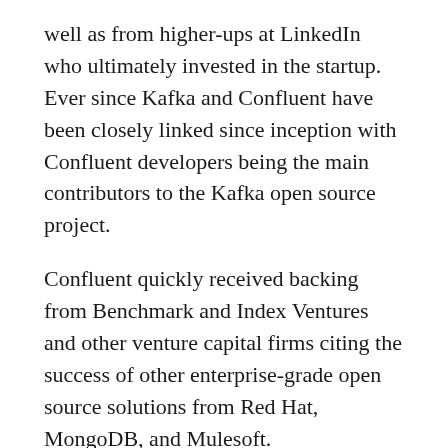well as from higher-ups at LinkedIn who ultimately invested in the startup. Ever since Kafka and Confluent have been closely linked since inception with Confluent developers being the main contributors to the Kafka open source project.
Confluent quickly received backing from Benchmark and Index Ventures and other venture capital firms citing the success of other enterprise-grade open source solutions from Red Hat, MongoDB, and Mulesoft.
Today, Confluent is the leader and has become synonymous with the event streaming and stream processing space with the stated mission to “set data in motion.” The company positions itself as “the central nervous system of an organization, allowing data to be captured and processed as it is generated around the whole organization, enabling